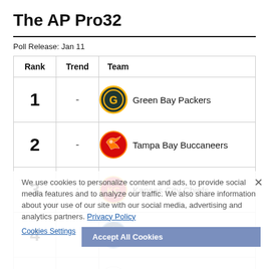The AP Pro32
Poll Release: Jan 11
| Rank | Trend | Team |
| --- | --- | --- |
| 1 | - | Green Bay Packers |
| 2 | - | Tampa Bay Buccaneers |
| 3 | ↑ | Kansas City Chiefs |
| 4 |  | Tennessee Titans |
| 5 |  | Dallas Cowboys |